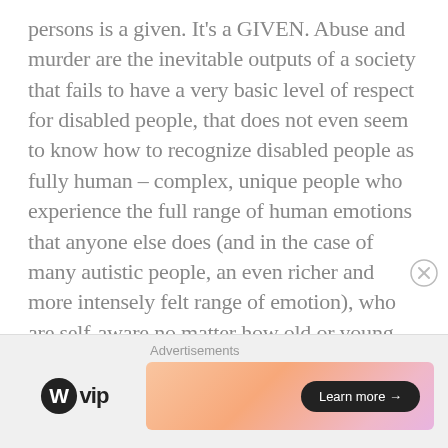persons is a given. It's a GIVEN. Abuse and murder are the inevitable outputs of a society that fails to have a very basic level of respect for disabled people, that does not even seem to know how to recognize disabled people as fully human – complex, unique people who experience the full range of human emotions that anyone else does (and in the case of many autistic people, an even richer and more intensely felt range of emotion), who are self-aware no matter how old or young they are, who need real human connection and shouldn't have to settle for tokenism, inspiration porn, and abusive relationships.
[Figure (other): Advertisement banner with WordPress VIP logo on the left and a colorful gradient banner with 'Learn more →' button on the right. Close button (circled X) in upper right corner.]